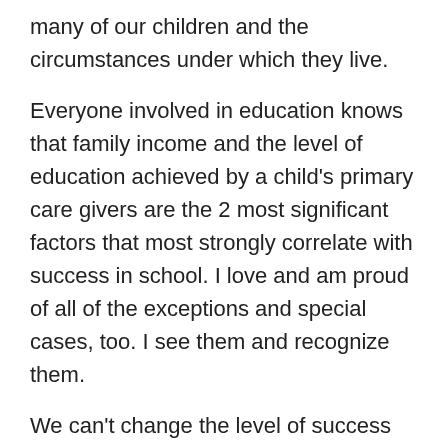many of our children and the circumstances under which they live.
Everyone involved in education knows that family income and the level of education achieved by a child's primary care givers are the 2 most significant factors that most strongly correlate with success in school. I love and am proud of all of the exceptions and special cases, too. I see them and recognize them.
We can't change the level of success all students reach without considering the effects of poverty, single parent households, racism and institutional racism, and the crushing effects that drugs, exploitation and abuse, and the incarceration rate of some minorities, have on